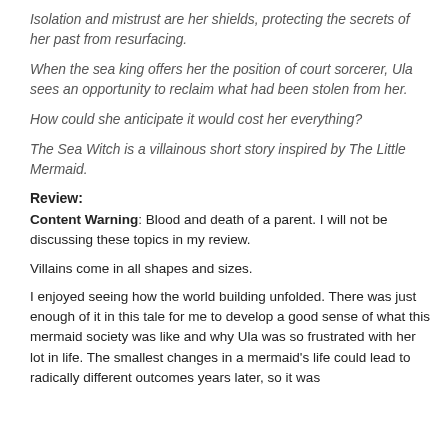Isolation and mistrust are her shields, protecting the secrets of her past from resurfacing.
When the sea king offers her the position of court sorcerer, Ula sees an opportunity to reclaim what had been stolen from her.
How could she anticipate it would cost her everything?
The Sea Witch is a villainous short story inspired by The Little Mermaid.
Review:
Content Warning: Blood and death of a parent. I will not be discussing these topics in my review.
Villains come in all shapes and sizes.
I enjoyed seeing how the world building unfolded. There was just enough of it in this tale for me to develop a good sense of what this mermaid society was like and why Ula was so frustrated with her lot in life. The smallest changes in a mermaid's life could lead to radically different outcomes years later, so it was